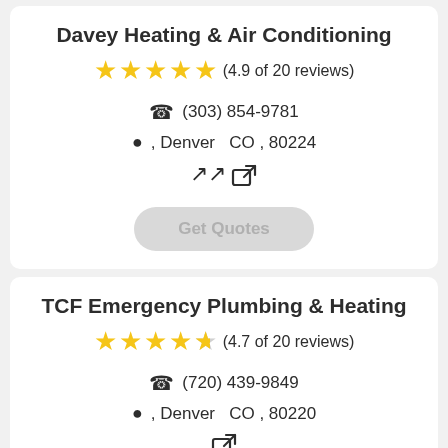Davey Heating & Air Conditioning
★★★★★ (4.9 of 20 reviews)
☎ (303) 854-9781
, Denver  CO , 80224
Get Quotes
TCF Emergency Plumbing & Heating
★★★★★ (4.7 of 20 reviews)
☎ (720) 439-9849
, Denver  CO , 80220
Get Quotes